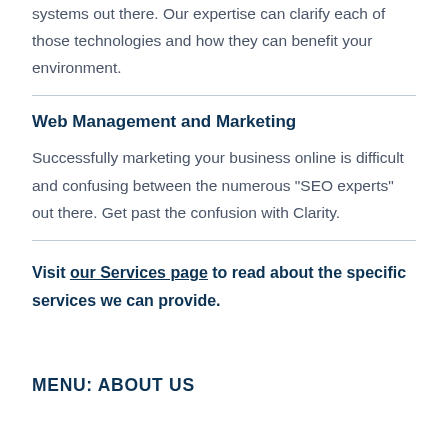systems out there. Our expertise can clarify each of those technologies and how they can benefit your environment.
Web Management and Marketing
Successfully marketing your business online is difficult and confusing between the numerous “SEO experts” out there. Get past the confusion with Clarity.
Visit our Services page to read about the specific services we can provide.
MENU: ABOUT US